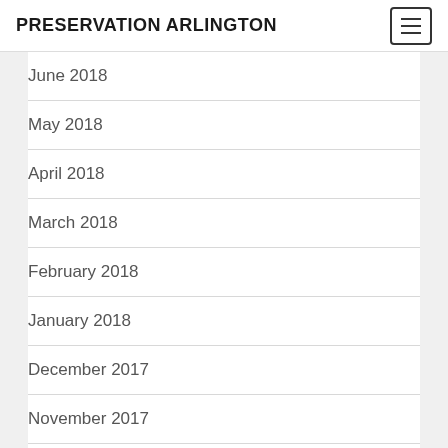PRESERVATION ARLINGTON
June 2018
May 2018
April 2018
March 2018
February 2018
January 2018
December 2017
November 2017
October 2017
August 2017